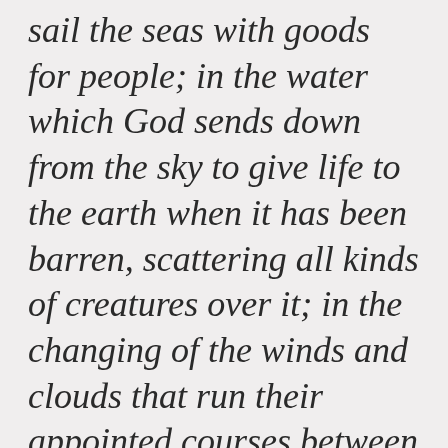sail the seas with goods for people; in the water which God sends down from the sky to give life to the earth when it has been barren, scattering all kinds of creatures over it; in the changing of the winds and clouds that run their appointed courses between the sky and earth: there are signs in all these for those who use their